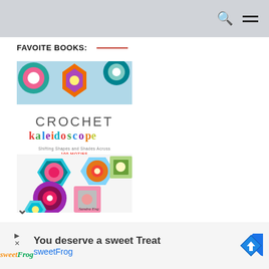FAVOITE BOOKS:
[Figure (photo): Book cover of 'Crochet Kaleidoscope - Shifting Shapes and Shades Across 100 Motifs' by Sandra Eng, showing colorful crocheted hexagon and square motifs on a white background.]
You deserve a sweet Treat
sweetFrog